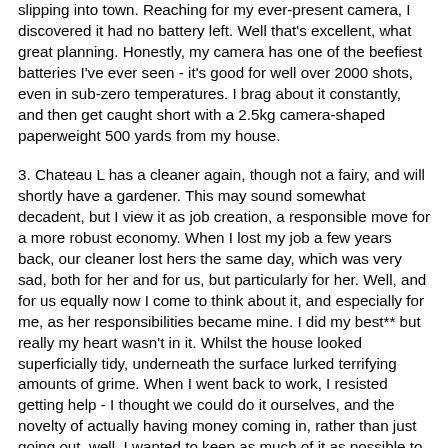slipping into town. Reaching for my ever-present camera, I discovered it had no battery left. Well that's excellent, what great planning. Honestly, my camera has one of the beefiest batteries I've ever seen - it's good for well over 2000 shots, even in sub-zero temperatures. I brag about it constantly, and then get caught short with a 2.5kg camera-shaped paperweight 500 yards from my house.
3. Chateau L has a cleaner again, though not a fairy, and will shortly have a gardener. This may sound somewhat decadent, but I view it as job creation, a responsible move for a more robust economy. When I lost my job a few years back, our cleaner lost hers the same day, which was very sad, both for her and for us, but particularly for her. Well, and for us equally now I come to think about it, and especially for me, as her responsibilities became mine. I did my best** but really my heart wasn't in it. Whilst the house looked superficially tidy, underneath the surface lurked terrifying amounts of grime. When I went back to work, I resisted getting help - I thought we could do it ourselves, and the novelty of actually having money coming in, rather than just going out, well, I wanted to keep as much of it as possible to spend on optics. The house began to look like Beirut on a